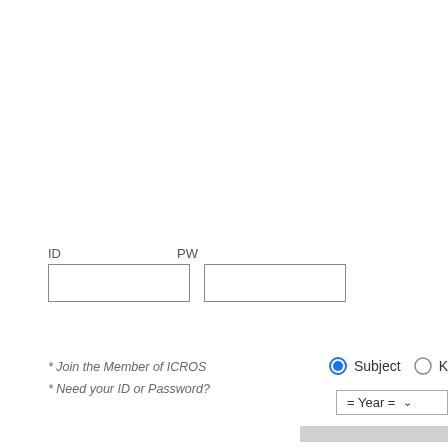ID
PW
* Join the Member of ICROS
* Need your ID or Password?
Subject
K
= Year =
Surface Electromyography C
Lower-limb Exoskeletons